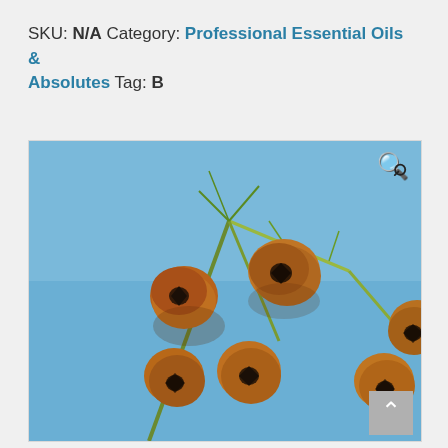SKU: N/A Category: Professional Essential Oils & Absolutes Tag: B
[Figure (photo): Close-up photograph of orange-brown botanical seed pods or flower buds with dark centers, on slender green stems, against a blue sky background.]